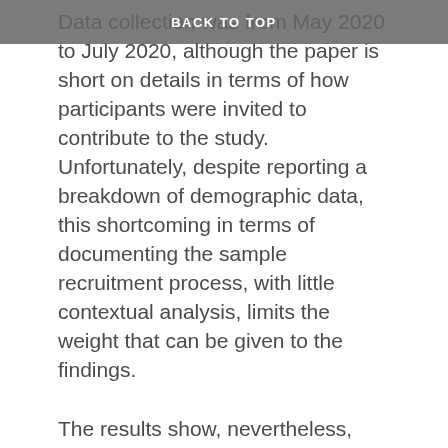BACK TO TOP
Data collection was from May 2020 to July 2020, although the paper is short on details in terms of how participants were invited to contribute to the study. Unfortunately, despite reporting a breakdown of demographic data, this shortcoming in terms of documenting the sample recruitment process, with little contextual analysis, limits the weight that can be given to the findings.
The results show, nevertheless, that few faculty engaged in critical course redesign and ‘redefinition’ through new digitally enhanced teaching and learning approaches was rare.  Moreover, there was limited evidence of changes in beliefs about online teaching, which supports previous research showing that new educational technology is typically mediated by, and assimilated within, pre-existing pedagogical beliefs (see for example, Tondeur, et al., 2017). The study also offers several theoretical and practical